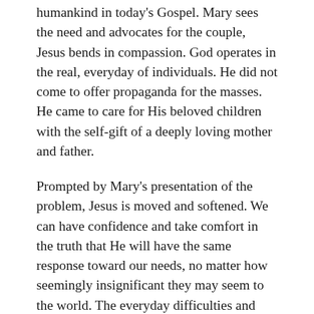humankind in today's Gospel. Mary sees the need and advocates for the couple, Jesus bends in compassion. God operates in the real, everyday of individuals. He did not come to offer propaganda for the masses. He came to care for His beloved children with the self-gift of a deeply loving mother and father.
Prompted by Mary's presentation of the problem, Jesus is moved and softened. We can have confidence and take comfort in the truth that He will have the same response toward our needs, no matter how seemingly insignificant they may seem to the world. The everyday difficulties and humiliations our lives matter to God and He desires to care for us in our need.
In light of this mystery, Pope Francis offered these